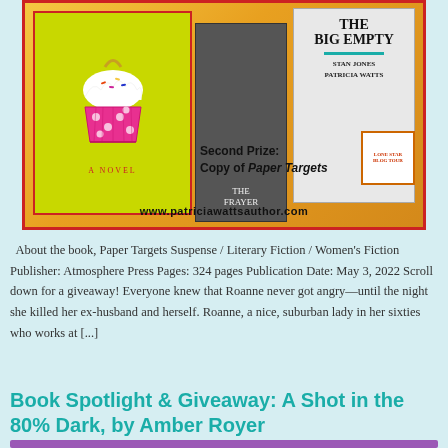[Figure (illustration): Book promotional banner for Patricia Watts author website showing three book covers: a yellow 'A Novel' cover with a cupcake, 'The Frayer' with a dark moody cover, and 'The Big Empty' by Stan Jones and Patricia Watts. Text reads 'Second Prize: Copy of Paper Targets' and 'www.patriciawattsauthor.com']
About the book, Paper Targets Suspense / Literary Fiction / Women's Fiction Publisher: Atmosphere Press Pages: 324 pages Publication Date: May 3, 2022 Scroll down for a giveaway! Everyone knew that Roanne never got angry—until the night she killed her ex-husband and herself. Roanne, a nice, suburban lady in her sixties who works at [...]
Book Spotlight & Giveaway: A Shot in the 80% Dark, by Amber Royer